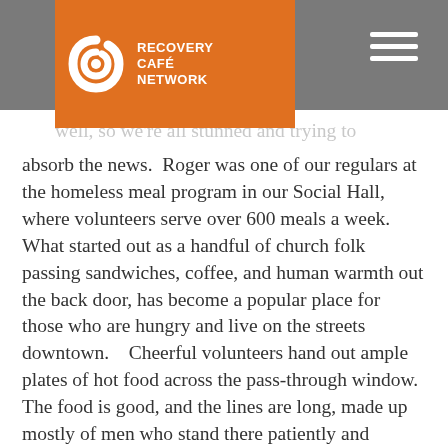Recovery Café Network
well, so we're all stunned and trying to absorb the news.  Roger was one of our regulars at the homeless meal program in our Social Hall, where volunteers serve over 600 meals a week.  What started out as a handful of church folk passing sandwiches, coffee, and human warmth out the back door, has become a popular place for those who are hungry and live on the streets downtown.   Cheerful volunteers hand out ample plates of hot food across the pass-through window. The food is good, and the lines are long, made up mostly of men who stand there patiently and quietly.  Many stare at the floor, then at their plate – heads hung with a kind of despondence born of the shame of dependence, perpetually being the recipient of someone else's good deeds.  We do our best to lift people up – we play music, offer art activities and a listening ear.